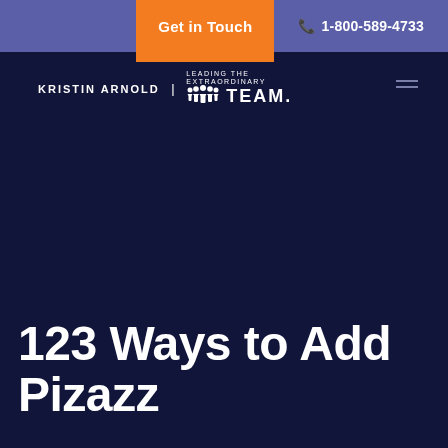Get in Touch  1-800-589-4733
[Figure (logo): Kristin Arnold | Leading the Extraordinary TEAM logo with silhouette people icons]
123 Ways to Add Pizazz